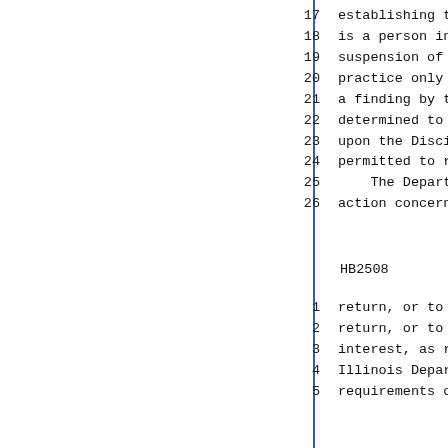17   establishing that any person ho
18   is a person in need of mental t
19   suspension of that license. Tha
20   practice only upon the entry of
21   a finding by the Disciplinary B
22   determined to be recovered from
23   upon the Disciplinary Board's r
24   permitted to resume their pract
25       The Department may refuse t
26   action concerning the license o
HB2508                         - 14
1    return, or to pay the tax, pena
2    return, or to pay any final ass
3    interest, as required by any ta
4    Illinois Department of Revenue,
5    requirements of any such tax Ac